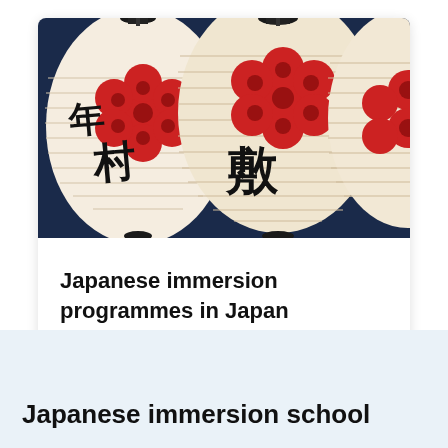[Figure (photo): Close-up photograph of traditional Japanese paper lanterns (chochin) with red circular floral patterns and black calligraphy kanji characters, hanging against a dark blue evening sky.]
Japanese immersion programmes in Japan
Japanese immersion school